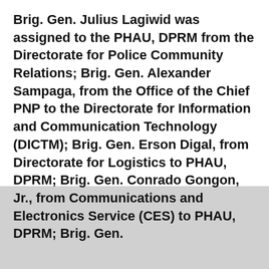Brig. Gen. Julius Lagiwid was assigned to the PHAU, DPRM from the Directorate for Police Community Relations; Brig. Gen. Alexander Sampaga, from the Office of the Chief PNP to the Directorate for Information and Communication Technology (DICTM); Brig. Gen. Erson Digal, from Directorate for Logistics to PHAU, DPRM; Brig. Gen. Conrado Gongon, Jr., from Communications and Electronics Service (CES) to PHAU, DPRM; Brig. Gen.